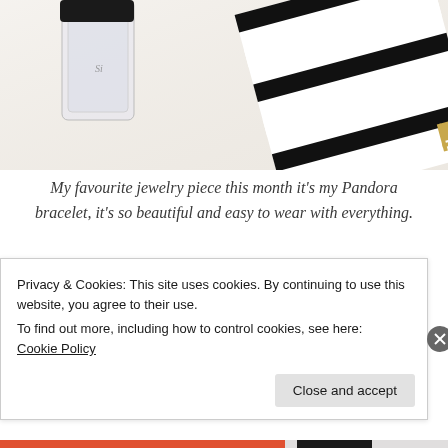[Figure (photo): Top portion of a lifestyle/beauty blog page showing a perfume bottle (Si Giorgio Armani) and a black and white striped notebook/box with gold corner detail on a light background.]
My favourite jewelry piece this month it's my Pandora bracelet, it's so beautiful and easy to wear with everything.
Next is my favourite perfume Si Giorgio Armani not only this month, but always. I try to use another different fragrances but always back to this one
Privacy & Cookies: This site uses cookies. By continuing to use this website, you agree to their use.
To find out more, including how to control cookies, see here:
Cookie Policy
Close and accept